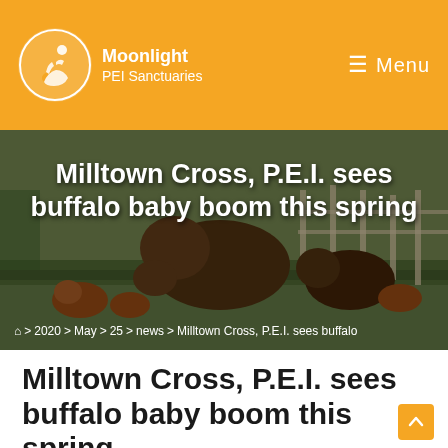Moonlight PEI Sanctuaries — Menu
[Figure (photo): Bison/buffalo animals grazing in a green field with fencing in the background. Hero image for the article about buffalo baby boom.]
Milltown Cross, P.E.I. sees buffalo baby boom this spring
⌂ > 2020 > May > 25 > news > Milltown Cross, P.E.I. sees buffalo
Milltown Cross, P.E.I. sees buffalo baby boom this spring
May 25, 2020 · news · 0 Comments